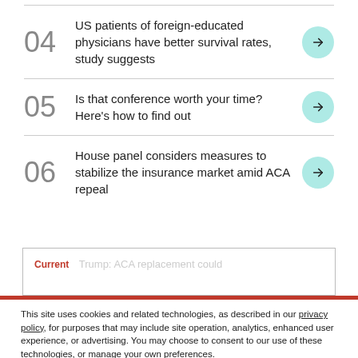04 US patients of foreign-educated physicians have better survival rates, study suggests
05 Is that conference worth your time? Here's how to find out
06 House panel considers measures to stabilize the insurance market amid ACA repeal
Current  Trump: ACA replacement could
This site uses cookies and related technologies, as described in our privacy policy, for purposes that may include site operation, analytics, enhanced user experience, or advertising. You may choose to consent to our use of these technologies, or manage your own preferences.
Manage Preferences  Accept All